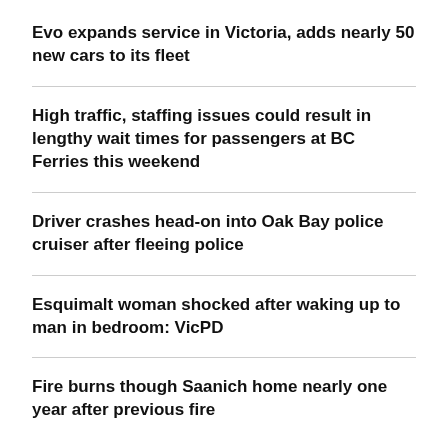Evo expands service in Victoria, adds nearly 50 new cars to its fleet
High traffic, staffing issues could result in lengthy wait times for passengers at BC Ferries this weekend
Driver crashes head-on into Oak Bay police cruiser after fleeing police
Esquimalt woman shocked after waking up to man in bedroom: VicPD
Fire burns though Saanich home nearly one year after previous fire